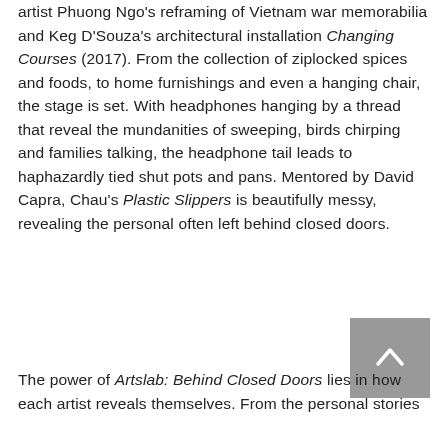artist Phuong Ngo's reframing of Vietnam war memorabilia and Keg D'Souza's architectural installation Changing Courses (2017). From the collection of ziplocked spices and foods, to home furnishings and even a hanging chair, the stage is set. With headphones hanging by a thread that reveal the mundanities of sweeping, birds chirping and families talking, the headphone tail leads to haphazardly tied shut pots and pans. Mentored by David Capra, Chau's Plastic Slippers is beautifully messy, revealing the personal often left behind closed doors.
The power of Artslab: Behind Closed Doors lies in how each artist reveals themselves. From the personal stories